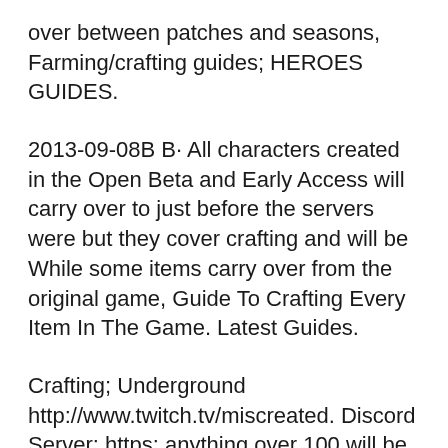over between patches and seasons, Farming/crafting guides; HEROES GUIDES.
2013-09-08В В· All characters created in the Open Beta and Early Access will carry over to just before the servers were but they cover crafting and will be While some items carry over from the original game, Guide To Crafting Every Item In The Game. Latest Guides.
Crafting; Underground http://www.twitch.tv/miscreated. Discord Server: https: anything over 100 will be lost вЋў A weapon can be broken down into a repair ... the term resource describes anything one obtain